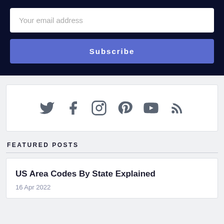Your email address
Subscribe
[Figure (infographic): Social media icons: Twitter, Facebook, Instagram, Pinterest, YouTube, RSS feed]
FEATURED POSTS
US Area Codes By State Explained
16 Apr 2022